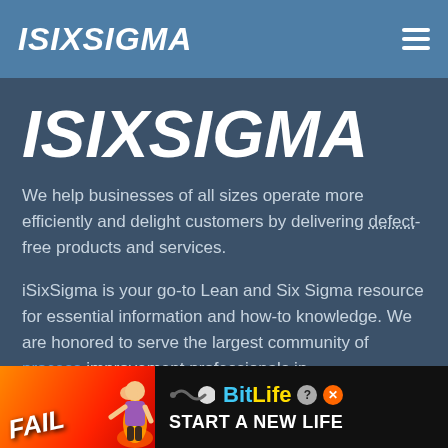ISIXSIGMA
ISIXSIGMA
We help businesses of all sizes operate more efficiently and delight customers by delivering defect-free products and services.
iSixSigma is your go-to Lean and Six Sigma resource for essential information and how-to knowledge. We are honored to serve the largest community of process improvement professionals in
[Figure (other): Advertisement banner for BitLife game with 'FAIL' text, animated character, fire imagery, BitLife logo, and 'START A NEW LIFE' text on black background]